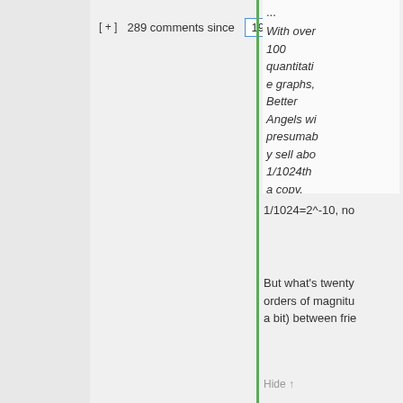[ + ]  289 comments since  1970-01-01 00:0
...
With over 100 quantitative graphs, Better Angels wi presumably sell abo 1/1024th a copy.
1/1024=2^-10, no
But what's twenty orders of magnitu a bit) between frie
Hide ↑